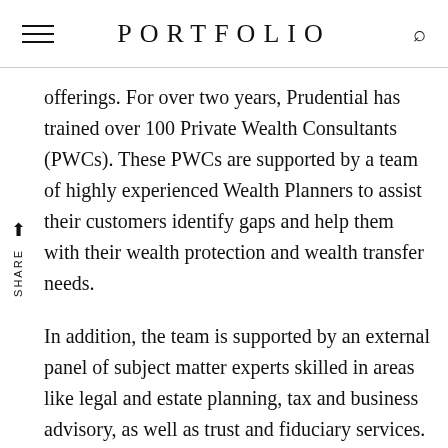PORTFOLIO
offerings. For over two years, Prudential has trained over 100 Private Wealth Consultants (PWCs). These PWCs are supported by a team of highly experienced Wealth Planners to assist their customers identify gaps and help them with their wealth protection and wealth transfer needs.
In addition, the team is supported by an external panel of subject matter experts skilled in areas like legal and estate planning, tax and business advisory, as well as trust and fiduciary services. Thus, Opus customers have exclusive access to these experts and their services through a curated list of strong partnerships Prudential has built.